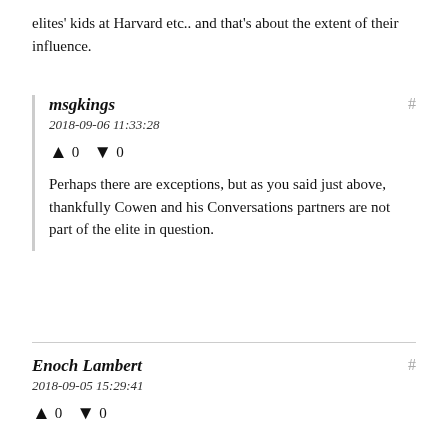elites' kids at Harvard etc.. and that's about the extent of their influence.
msgkings
2018-09-06 11:33:28
▲ 0 ▼ 0
Perhaps there are exceptions, but as you said just above, thankfully Cowen and his Conversations partners are not part of the elite in question.
Enoch Lambert
2018-09-05 15:29:41
▲ 0 ▼ 0
You mostly assume an idealism/cynicism dichotomy and do not consider a more realistic adjustment of our expectations.
You also focus on failures of the elites as though they are